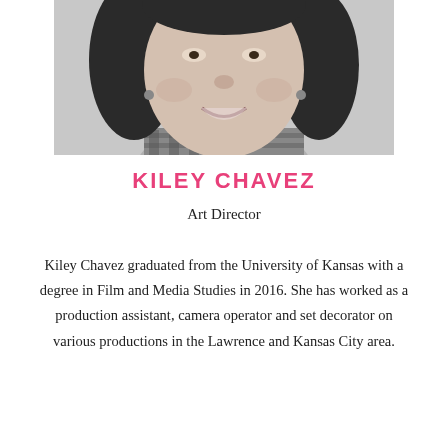[Figure (photo): Black and white headshot photo of Kiley Chavez, a woman with long dark hair, smiling, wearing a plaid shirt]
KILEY CHAVEZ
Art Director
Kiley Chavez graduated from the University of Kansas with a degree in Film and Media Studies in 2016. She has worked as a production assistant, camera operator and set decorator on various productions in the Lawrence and Kansas City area.